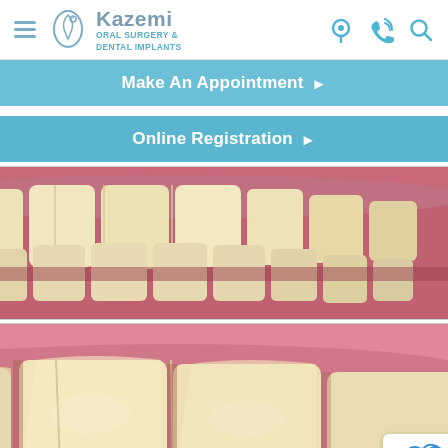Kazemi Oral Surgery & Dental Implants
Make An Appointment ▶
Online Registration ▶
[Figure (photo): Close-up frontal view of a patient's upper and lower teeth showing natural dentition before dental implant treatment]
[Figure (photo): Close-up frontal view of a patient's upper front teeth showing gum tissue and natural teeth, closer zoom, dental implant case]